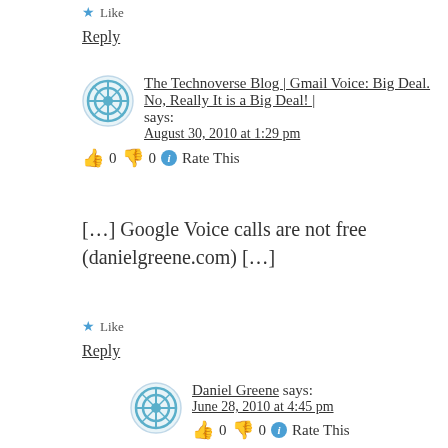★ Like
Reply
The Technoverse Blog | Gmail Voice: Big Deal. No, Really It is a Big Deal! | says:
August 30, 2010 at 1:29 pm
👍 0 👎 0 ℹ Rate This
[…] Google Voice calls are not free (danielgreene.com) […]
★ Like
Reply
Daniel Greene says:
June 28, 2010 at 4:45 pm
👍 0 👎 0 ℹ Rate This